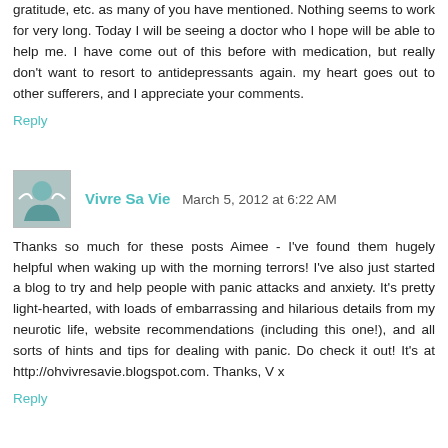gratitude, etc. as many of you have mentioned. Nothing seems to work for very long. Today I will be seeing a doctor who I hope will be able to help me. I have come out of this before with medication, but really don't want to resort to antidepressants again. my heart goes out to other sufferers, and I appreciate your comments.
Reply
Vivre Sa Vie  March 5, 2012 at 6:22 AM
Thanks so much for these posts Aimee - I've found them hugely helpful when waking up with the morning terrors! I've also just started a blog to try and help people with panic attacks and anxiety. It's pretty light-hearted, with loads of embarrassing and hilarious details from my neurotic life, website recommendations (including this one!), and all sorts of hints and tips for dealing with panic. Do check it out! It's at http://ohvivresavie.blogspot.com. Thanks, V x
Reply